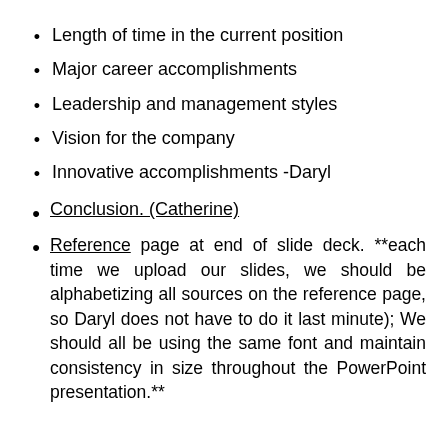Length of time in the current position
Major career accomplishments
Leadership and management styles
Vision for the company
Innovative accomplishments -Daryl
Conclusion. (Catherine)
Reference page at end of slide deck. **each time we upload our slides, we should be alphabetizing all sources on the reference page, so Daryl does not have to do it last minute); We should all be using the same font and maintain consistency in size throughout the PowerPoint presentation.**